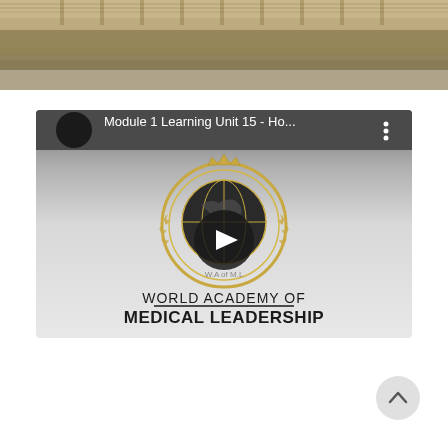[Figure (photo): Sepia-toned photograph of a large building exterior with stands/bleachers visible at the top]
[Figure (screenshot): YouTube video thumbnail for 'Module 1 Learning Unit 15 - Ho...' featuring the World Academy of Medical Leadership logo (globe with laurel wreath and crown) and text 'WORLD ACADEMY OF MEDICAL LEADERSHIP' with a play button overlay]